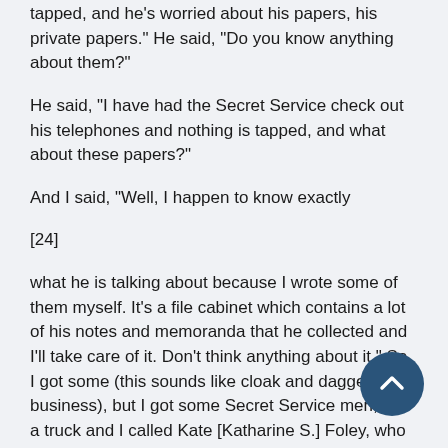tapped, and he's worried about his papers, his private papers." He said, "Do you know anything about them?"
He said, "I have had the Secret Service check out his telephones and nothing is tapped, and what about these papers?"
And I said, "Well, I happen to know exactly
[24]
what he is talking about because I wrote some of them myself. It's a file cabinet which contains a lot of his notes and memoranda that he collected and I'll take care of it. Don't think anything about it." So, I got some (this sounds like cloak and dagger business), but I got some Secret Service men, got a truck and I called Kate [Katharine S.] Foley, who had been Forrestal's sec and went over there, over to the Pentagon, and t cabinet out of what was then Johnson's office and brought it to the White House. And I had Kate open the